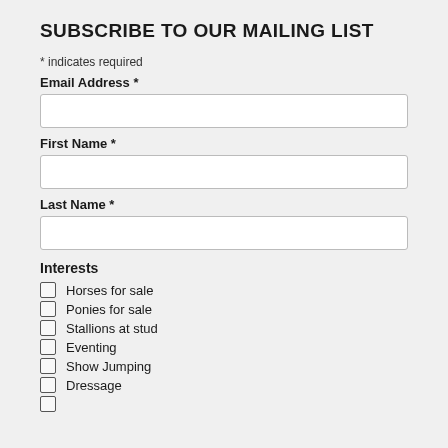SUBSCRIBE TO OUR MAILING LIST
* indicates required
Email Address *
First Name *
Last Name *
Interests
Horses for sale
Ponies for sale
Stallions at stud
Eventing
Show Jumping
Dressage
...